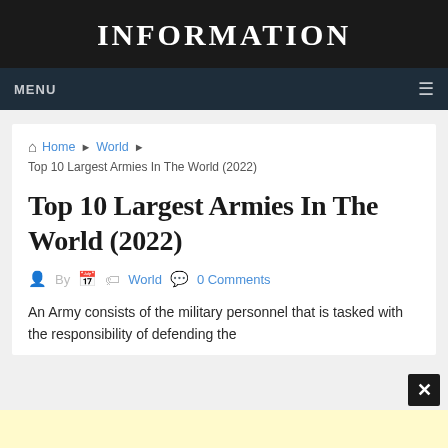INFORMATION
MENU
Home ▶ World ▶ Top 10 Largest Armies In The World (2022)
Top 10 Largest Armies In The World (2022)
By   World   0 Comments
An Army consists of the military personnel that is tasked with the responsibility of defending the